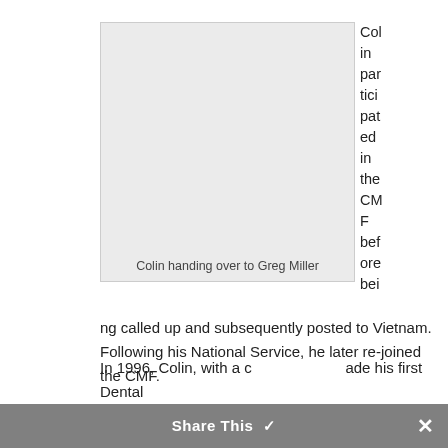[Figure (photo): Gray placeholder image box with caption 'Colin handing over to Greg Miller']
Colin handing over to Greg Miller
Colin participated in the CMF before being called up and subsequently posted to Vietnam. Following his National Service, he later re-joined the CMF.
In 1996, Colin, with a c... made his first Dental
Share This ✓ ×